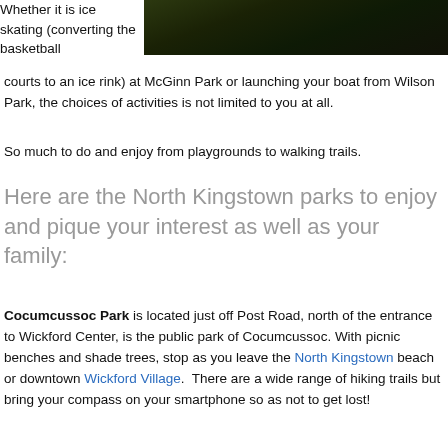[Figure (photo): Dark nature/park photo showing foliage]
Whether it is ice skating (converting the basketball courts to an ice rink) at McGinn Park or launching your boat from Wilson Park, the choices of activities is not limited to you at all.
So much to do and enjoy from playgrounds to walking trails.
Here are the North Kingstown parks to enjoy and pique your interest as well as your family:
Cocumcussoc Park is located just off Post Road, north of the entrance to Wickford Center, is the public park of Cocumcussoc. With picnic benches and shade trees, stop as you leave the North Kingstown beach or downtown Wickford Village.  There are a wide range of hiking trails but bring your compass on your smartphone so as not to get lost!